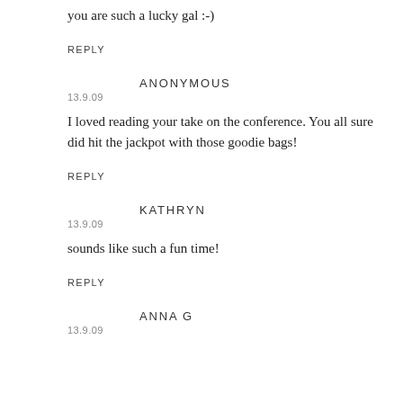you are such a lucky gal :-)
REPLY
ANONYMOUS
13.9.09
I loved reading your take on the conference. You all sure did hit the jackpot with those goodie bags!
REPLY
KATHRYN
13.9.09
sounds like such a fun time!
REPLY
ANNA G
13.9.09